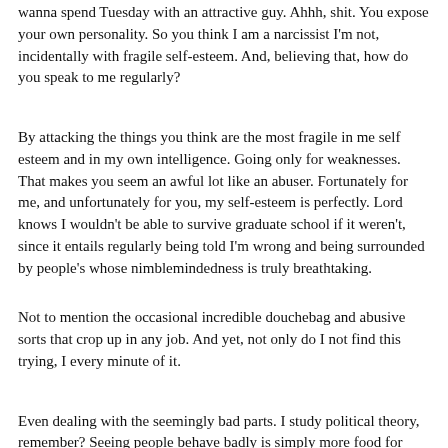wanna spend Tuesday with an attractive guy. Ahhh, shit. You expose your own personality. So you think I am a narcissist I'm not, incidentally with fragile self-esteem. And, believing that, how do you speak to me regularly?
By attacking the things you think are the most fragile in me self esteem and in my own intelligence. Going only for weaknesses. That makes you seem an awful lot like an abuser. Fortunately for me, and unfortunately for you, my self-esteem is perfectly. Lord knows I wouldn't be able to survive graduate school if it weren't, since it entails regularly being told I'm wrong and being surrounded by people's whose nimblemindedness is truly breathtaking.
Not to mention the occasional incredible douchebag and abusive sorts that crop up in any job. And yet, not only do I not find this trying, I every minute of it.
Even dealing with the seemingly bad parts. I study political theory, remember? Seeing people behave badly is simply more food for thought. So where does this leave us? I suppose you always, as the abuser, feel the deep and abiding need to attempt to cut me down.